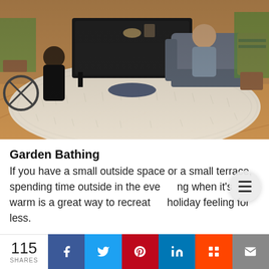[Figure (photo): Indoor room scene with people sitting on a large fluffy white/cream shag rug on a herringbone wooden floor, with plants, a dark coffee table, and a grey armchair visible.]
Garden Bathing
If you have a small outside space or a small terrace, spending time outside in the evening when it's warm is a great way to recreate a holiday feeling for less.
115 SHARES | Facebook | Twitter | Pinterest | LinkedIn | Mix | Email